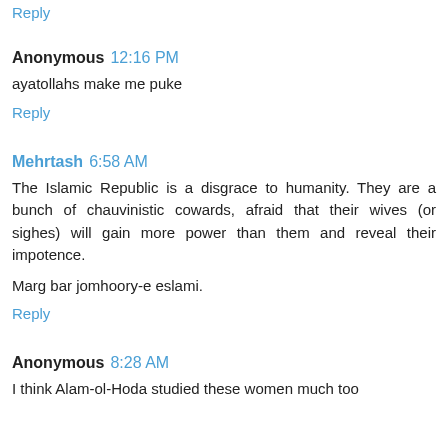Reply
Anonymous  12:16 PM
ayatollahs make me puke
Reply
Mehrtash  6:58 AM
The Islamic Republic is a disgrace to humanity. They are a bunch of chauvinistic cowards, afraid that their wives (or sighes) will gain more power than them and reveal their impotence.
Marg bar jomhoory-e eslami.
Reply
Anonymous  8:28 AM
I think Alam-ol-Hoda studied these women much too